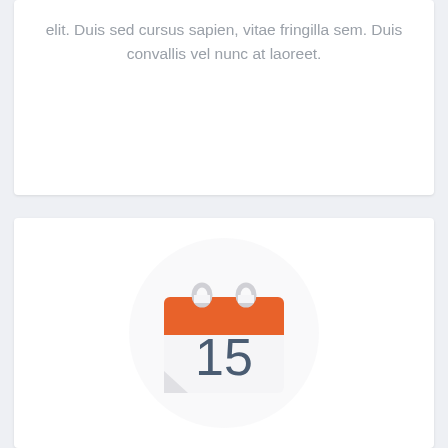elit. Duis sed cursus sapien, vitae fringilla sem. Duis convallis vel nunc at laoreet.
[Figure (illustration): A calendar icon showing the number 15, with an orange top bar and two ring binders at the top, displayed over a light circular background.]